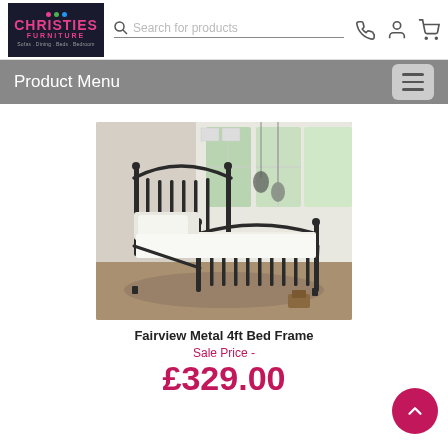[Figure (logo): Christies Furniture logo — white text on dark background with pink accent and colored dots, tagline: Sofas. Dining. Beds. Bedroom]
Search for products
Product Menu
[Figure (photo): Photo of a black metal bed frame (Fairview Metal 4ft) with white bedding in a bright bedroom setting]
Fairview Metal 4ft Bed Frame
Sale Price -
£329.00